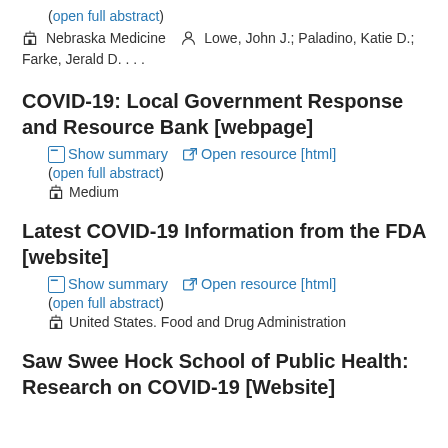(open full abstract)
Nebraska Medicine   Lowe, John J.; Paladino, Katie D.; Farke, Jerald D. . . .
COVID-19: Local Government Response and Resource Bank [webpage]
Show summary   Open resource [html]
(open full abstract)
Medium
Latest COVID-19 Information from the FDA [website]
Show summary   Open resource [html]
(open full abstract)
United States. Food and Drug Administration
Saw Swee Hock School of Public Health: Research on COVID-19 [Website]